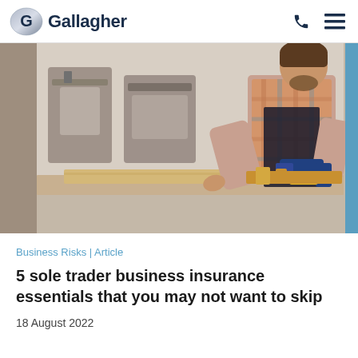Gallagher
[Figure (photo): A tradesman wearing a checkered shirt and dark apron working in a workshop, using a power drill on wooden planks, with various woodworking machinery in the background.]
Business Risks | Article
5 sole trader business insurance essentials that you may not want to skip
18 August 2022